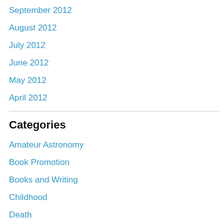September 2012
August 2012
July 2012
June 2012
May 2012
April 2012
Categories
Amateur Astronomy
Book Promotion
Books and Writing
Childhood
Death
double stars
Dreams
Essays
fantasy
Gardening